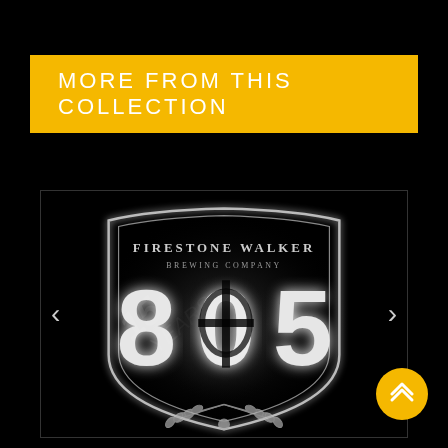MORE FROM THIS COLLECTION
[Figure (logo): Firestone Walker Brewing Company 805 beer brand logo — illuminated neon-style shield emblem with '805' in large white glowing numerals and 'FIRESTONE WALKER BREWING COMPANY' text above, with wheat and hop decorations below, on black background]